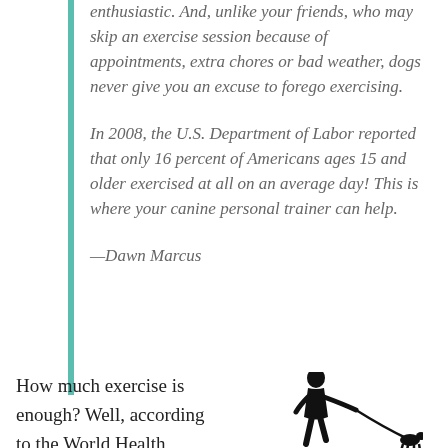enthusiastic. And, unlike your friends, who may skip an exercise session because of appointments, extra chores or bad weather, dogs never give you an excuse to forego exercising.
In 2008, the U.S. Department of Labor reported that only 16 percent of Americans ages 15 and older exercised at all on an average day! This is where your canine personal trainer can help.
—Dawn Marcus
How much exercise is enough? Well, according to the World Health
[Figure (illustration): Black silhouette of a person walking a dog on a leash]